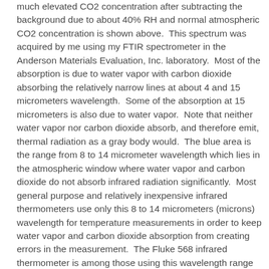much elevated CO2 concentration after subtracting the background due to about 40% RH and normal atmospheric CO2 concentration is shown above.  This spectrum was acquired by me using my FTIR spectrometer in the Anderson Materials Evaluation, Inc. laboratory.  Most of the absorption is due to water vapor with carbon dioxide absorbing the relatively narrow lines at about 4 and 15 micrometers wavelength.  Some of the absorption at 15 micrometers is also due to water vapor.  Note that neither water vapor nor carbon dioxide absorb, and therefore emit, thermal radiation as a gray body would.  The blue area is the range from 8 to 14 micrometer wavelength which lies in the atmospheric window where water vapor and carbon dioxide do not absorb infrared radiation significantly.  Most general purpose and relatively inexpensive infrared thermometers use only this 8 to 14 micrometers (microns) wavelength for temperature measurements in order to keep water vapor and carbon dioxide absorption from creating errors in the measurement.  The Fluke 568 infrared thermometer is among those using this wavelength range for its temperature measurements.
So, the market that makes these infrared thermometers available